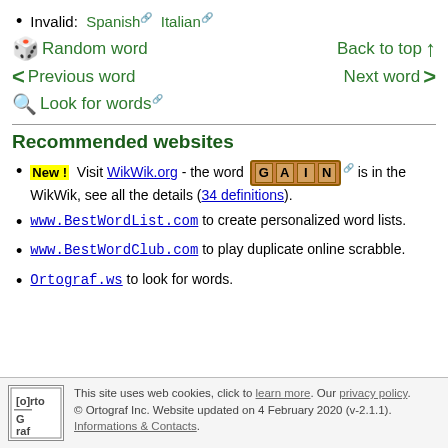Invalid: Spanish Italian
Random word
Previous word
Look for words
Back to top
Next word
Recommended websites
New ! Visit WikWik.org - the word GAIN is in the WikWik, see all the details (34 definitions).
www.BestWordList.com to create personalized word lists.
www.BestWordClub.com to play duplicate online scrabble.
Ortograf.ws to look for words.
This site uses web cookies, click to learn more. Our privacy policy. © Ortograf Inc. Website updated on 4 February 2020 (v-2.1.1). Informations & Contacts.